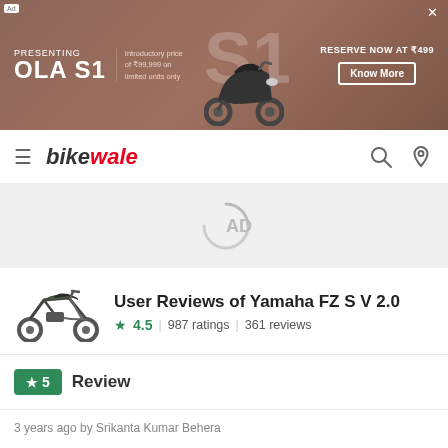[Figure (screenshot): Ola S1 advertisement banner: 'PRESENTING OLA S1 | Introductory price of ₹99,999 on limited units only | RESERVE NOW AT ₹499 | Know More button']
BikeWale
[Figure (other): AD loading spinner placeholder]
User Reviews of Yamaha FZ S V 2.0
4.5  |  987 ratings  |  361 reviews
★5  Review
3 years ago by Srikanta Kumar Behera
Used it for: Daily Commute
Owned for: > 1 yr